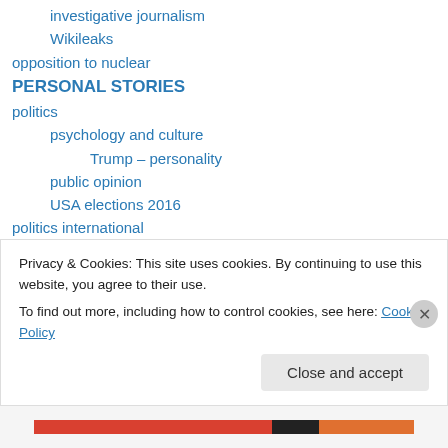investigative journalism
Wikileaks
opposition to nuclear
PERSONAL STORIES
politics
psychology and culture
Trump – personality
public opinion
USA elections 2016
politics international
Religion and ethics
safety
incidents
Privacy & Cookies: This site uses cookies. By continuing to use this website, you agree to their use.
To find out more, including how to control cookies, see here: Cookie Policy
Close and accept